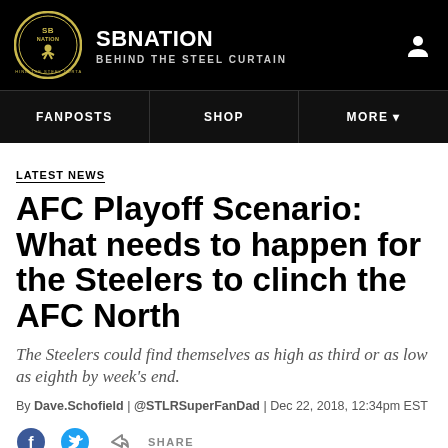SB NATION | BEHIND THE STEEL CURTAIN
FANPOSTS | SHOP | MORE
LATEST NEWS
AFC Playoff Scenario: What needs to happen for the Steelers to clinch the AFC North
The Steelers could find themselves as high as third or as low as eighth by week's end.
By Dave.Schofield | @STLRSuperFanDad | Dec 22, 2018, 12:34pm EST